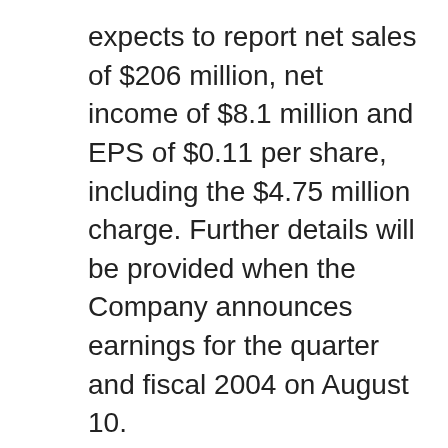expects to report net sales of $206 million, net income of $8.1 million and EPS of $0.11 per share, including the $4.75 million charge. Further details will be provided when the Company announces earnings for the quarter and fiscal 2004 on August 10.
Perrigo Company is the nation's largest manufacturer of over-the-counter (non-prescription) pharmaceutical and nutritional products sold by supermarket,